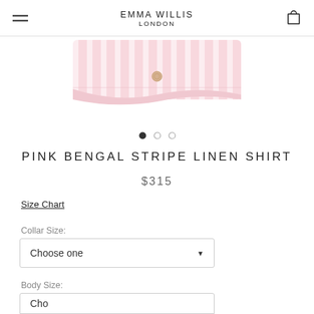EMMA WILLIS LONDON
[Figure (photo): Pink bengal stripe linen shirt fabric close-up showing collar and button detail]
PINK BENGAL STRIPE LINEN SHIRT
$315
Size Chart
Collar Size:
Choose one
Body Size:
Choose